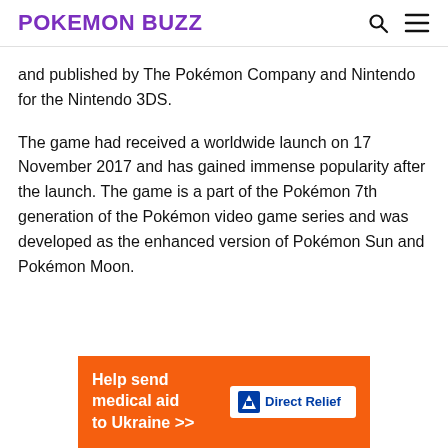POKEMON BUZZ
and published by The Pokémon Company and Nintendo for the Nintendo 3DS.
The game had received a worldwide launch on 17 November 2017 and has gained immense popularity after the launch. The game is a part of the Pokémon 7th generation of the Pokémon video game series and was developed as the enhanced version of Pokémon Sun and Pokémon Moon.
[Figure (infographic): Orange advertisement banner for Direct Relief: 'Help send medical aid to Ukraine >>' with Direct Relief logo on white background]